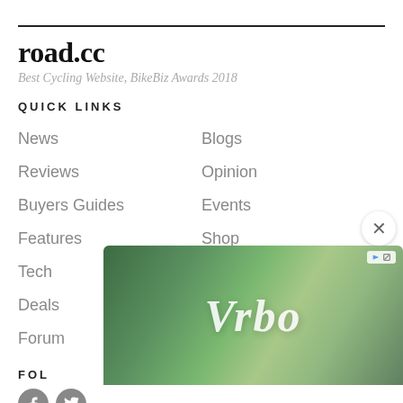road.cc
Best Cycling Website, BikeBiz Awards 2018
QUICK LINKS
News
Blogs
Reviews
Opinion
Buyers Guides
Events
Features
Shop
Tech
Health & Fitness
Deals
Travel
Forum
FOL
[Figure (screenshot): Vrbo advertisement banner with green background and stylized italic Vrbo logo text in white]